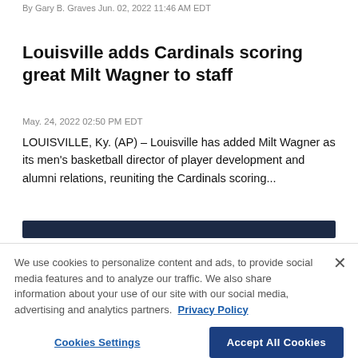By Gary B. Graves Jun. 02, 2022 11:46 AM EDT
Louisville adds Cardinals scoring great Milt Wagner to staff
May. 24, 2022 02:50 PM EDT
LOUISVILLE, Ky. (AP) – Louisville has added Milt Wagner as its men's basketball director of player development and alumni relations, reuniting the Cardinals scoring...
We use cookies to personalize content and ads, to provide social media features and to analyze our traffic. We also share information about your use of our site with our social media, advertising and analytics partners. Privacy Policy
Cookies Settings  Accept All Cookies